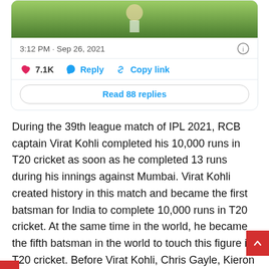[Figure (screenshot): Tweet card with cricket image at top, timestamp 3:12 PM · Sep 26, 2021, like count 7.1K, Reply and Copy link actions, and Read 88 replies button]
During the 39th league match of IPL 2021, RCB captain Virat Kohli completed his 10,000 runs in T20 cricket as soon as he completed 13 runs during his innings against Mumbai. Virat Kohli created history in this match and became the first batsman for India to complete 10,000 runs in T20 cricket. At the same time in the world, he became the fifth batsman in the world to touch this figure in T20 cricket. Before Virat Kohli, Chris Gayle, Kieron Pollard, Shoaib Malik and David Warner have touched 10,000 runs in T20 cricket.